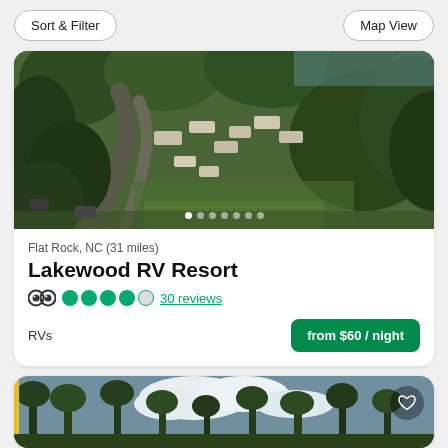Sort & Filter | Map View
[Figure (photo): Aerial drone photo of Lakewood RV Resort showing RVs parked among trees with winding road]
Flat Rock, NC (31 miles)
Lakewood RV Resort
TripAdvisor logo with 4.5 out of 5 circles, 30 reviews
RVs
from $60 / night
[Figure (photo): Partial photo of another campground listing showing tall trees against blue sky with heart/save icon in top right]